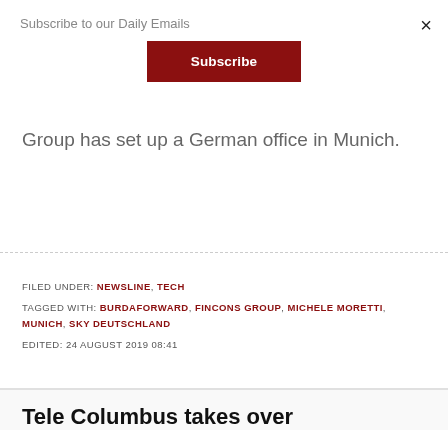Subscribe to our Daily Emails
Group has set up a German office in Munich.
FILED UNDER: NEWSLINE, TECH
TAGGED WITH: BURDAFORWARD, FINCONS GROUP, MICHELE MORETTI, MUNICH, SKY DEUTSCHLAND
EDITED: 24 AUGUST 2019 08:41
Tele Columbus takes over